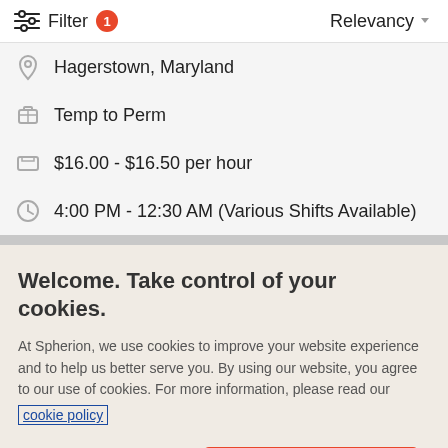Filter 1  Relevancy
Hagerstown, Maryland
Temp to Perm
$16.00 - $16.50 per hour
4:00 PM - 12:30 AM (Various Shifts Available)
Welcome. Take control of your cookies.
At Spherion, we use cookies to improve your website experience and to help us better serve you. By using our website, you agree to our use of cookies. For more information, please read our cookie policy
Cookies Settings  Accept Cookies